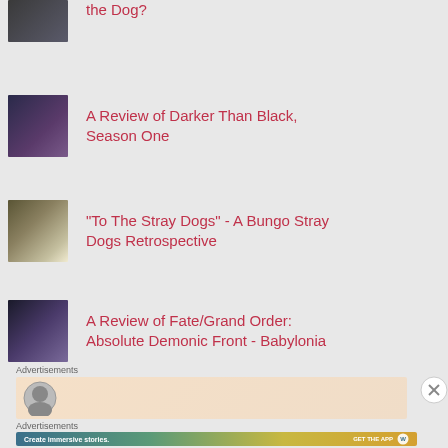the Dog?
[Figure (photo): Anime thumbnail image - dark figure]
A Review of Darker Than Black, Season One
[Figure (photo): Anime thumbnail image - group of characters in white suits]
"To The Stray Dogs" - A Bungo Stray Dogs Retrospective
[Figure (photo): Anime thumbnail image - dark promotional art]
A Review of Fate/Grand Order: Absolute Demonic Front - Babylonia
Advertisements
[Figure (other): Advertisement banner with circular logo icon on peach background]
Advertisements
[Figure (other): WordPress advertisement: Create immersive stories. GET THE APP with WordPress logo]